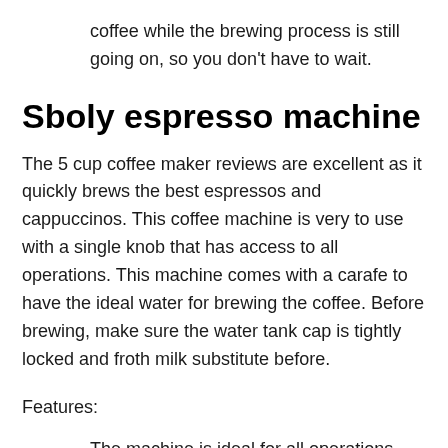coffee while the brewing process is still going on, so you don't have to wait.
Sboly espresso machine
The 5 cup coffee maker reviews are excellent as it quickly brews the best espressos and cappuccinos. This coffee machine is very to use with a single knob that has access to all operations. This machine comes with a carafe to have the ideal water for brewing the coffee. Before brewing, make sure the water tank cap is tightly locked and froth milk substitute before.
Features:
The machine is ideal for all operations and